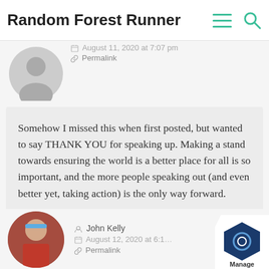Random Forest Runner
[Figure (screenshot): Default user avatar (gray silhouette) for commenter above]
August 11, 2020 at 7:07 pm
Permalink
Somehow I missed this when first posted, but wanted to say THANK YOU for speaking up. Making a stand towards ensuring the world is a better place for all is so important, and the more people speaking out (and even better yet, taking action) is the only way forward.
Reply
[Figure (photo): Profile photo of John Kelly - man in running gear with blue headband]
John Kelly
August 12, 2020 at 6:1...
Permalink
[Figure (logo): Manage blue hexagon logo badge in bottom right corner]